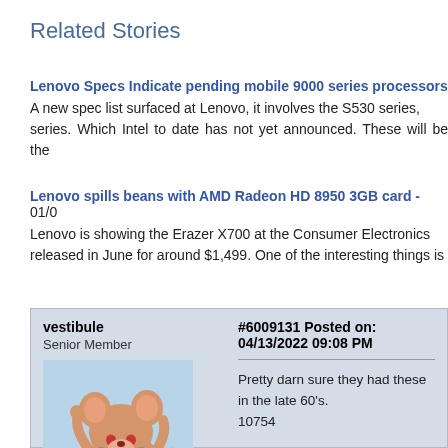Related Stories
Lenovo Specs Indicate pending mobile 9000 series processors A new spec list surfaced at Lenovo, it involves the S530 series, series. Which Intel to date has not yet announced. These will be the
Lenovo spills beans with AMD Radeon HD 8950 3GB card - 01/0 Lenovo is showing the Erazer X700 at the Consumer Electronics released in June for around $1,499. One of the interesting things is
vestibule
Senior Member
Posts: 834
Joined: 2014-04-21
#6009131 Posted on: 04/13/2022 09:08 PM
Pretty darn sure they had these in the late 60's.
10754